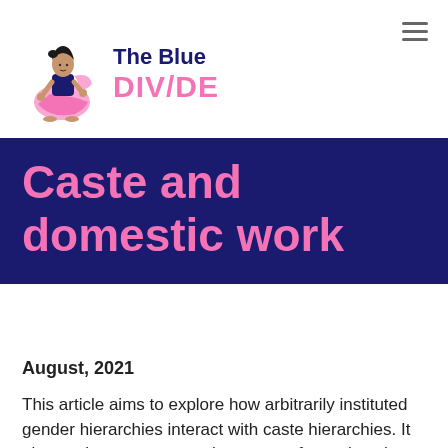[Figure (logo): The Blue DIVIDE logo with illustrated woman in pink sari seated, next to text 'The Blue DIVIDE' in dark blue and pink]
Caste and domestic work
August, 2021
This article aims to explore how arbitrarily instituted gender hierarchies interact with caste hierarchies. It also seeks to enumerate instances of casteism that play out in our day-to-day interactions with our domestic